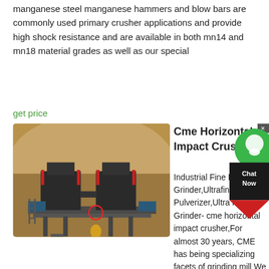manganese steel manganese hammers and blow bars are commonly used primary crusher applications and provide high shock resistance and are available in both mn14 and mn18 material grades as well as our special
get price
[Figure (photo): Industrial impact crusher machine on outdoor platform with red spring accumulators and drive components, set against an earthen background]
Cme Horizontal Impact Crusher
Industrial Fine Powder Grinder,Ultrafine Pulverizer,Ultra Fine Grinder- cme horizontal impact crusher,For almost 30 years, CME has being specializing facets of grinding mill We review, research and try on 12 kinds of mills and horizontal hammer crushersCrushers Main Parts And Their Functions PDF CME Jaw CrusherCone crusher Cme Horizontal Impact Crusher Bing
get price